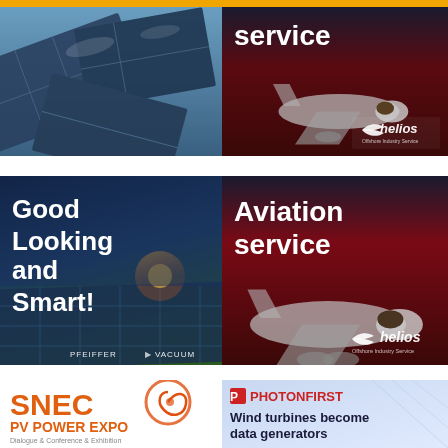[Figure (photo): Solar panels scattered, blue-toned photo]
[Figure (photo): Aviation service ad with airplane, helios logo, red/dark tones, top portion]
[Figure (photo): Pfeiffer Vacuum ad: Good Looking and Smart! with solar panels and sky background]
[Figure (photo): Aviation service ad with airplane, helios logo, red/dark tones, full version]
[Figure (logo): SNEC PV POWER EXPO logo with orange/red text, Dialogue & Conference & Exhibition tagline]
[Figure (photo): PhotonFirst ad: Wind turbines become data generators, with logo]